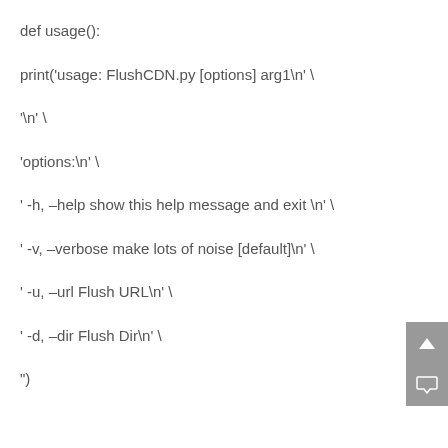def usage():

print('usage: FlushCDN.py [options] arg1\n' \

'\n' \

'options:\n' \

' -h, –help show this help message and exit \n' \

' -v, –verbose make lots of noise [default]\n' \

' -u, –url Flush URL\n' \

' -d, –dir Flush Dir\n' \

"")